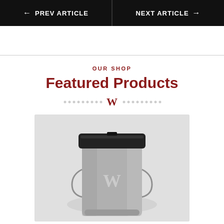← PREV ARTICLE    NEXT ARTICLE →
OUR SHOP
Featured Products
[Figure (logo): Decorative W logo with dot dividers on both sides]
[Figure (photo): A gray metal tumbler/travel mug with black lid, featuring a W logo cutout or emblem on the body, shown against a light gray background.]